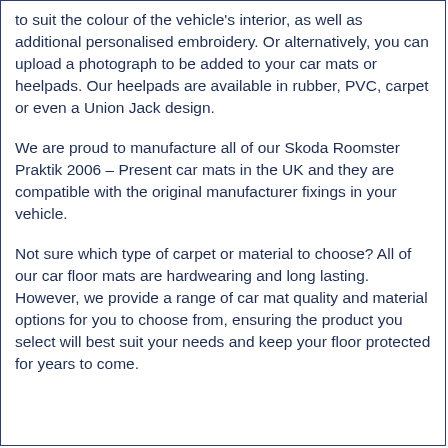to suit the colour of the vehicle's interior, as well as additional personalised embroidery. Or alternatively, you can upload a photograph to be added to your car mats or heelpads. Our heelpads are available in rubber, PVC, carpet or even a Union Jack design.
We are proud to manufacture all of our Skoda Roomster Praktik 2006 – Present car mats in the UK and they are compatible with the original manufacturer fixings in your vehicle.
Not sure which type of carpet or material to choose? All of our car floor mats are hardwearing and long lasting. However, we provide a range of car mat quality and material options for you to choose from, ensuring the product you select will best suit your needs and keep your floor protected for years to come.